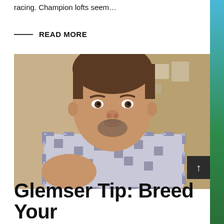racing. Champion lofts seem…
READ MORE
[Figure (photo): Close-up photo of a middle-aged man with short brown hair and a goatee, wearing a plaid flannel shirt, photographed indoors in what appears to be a room with shelves in the background.]
Glemser Tip: Breed Your